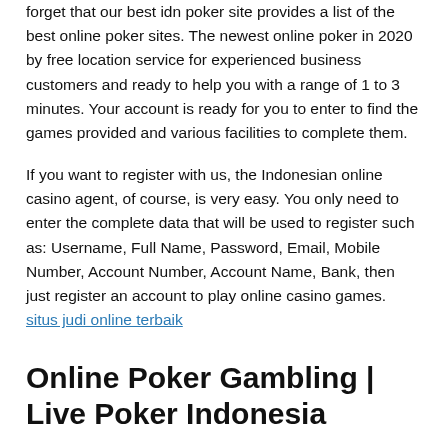forget that our best idn poker site provides a list of the best online poker sites. The newest online poker in 2020 by free location service for experienced business customers and ready to help you with a range of 1 to 3 minutes. Your account is ready for you to enter to find the games provided and various facilities to complete them.
If you want to register with us, the Indonesian online casino agent, of course, is very easy. You only need to enter the complete data that will be used to register such as: Username, Full Name, Password, Email, Mobile Number, Account Number, Account Name, Bank, then just register an account to play online casino games. situs judi online terbaik
Online Poker Gambling | Live Poker Indonesia